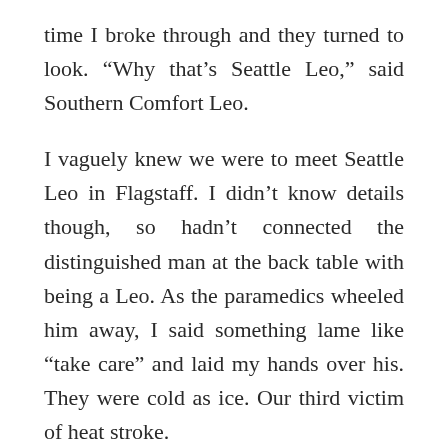time I broke through and they turned to look. “Why that’s Seattle Leo,” said Southern Comfort Leo.
I vaguely knew we were to meet Seattle Leo in Flagstaff. I didn’t know details though, so hadn’t connected the distinguished man at the back table with being a Leo. As the paramedics wheeled him away, I said something lame like “take care” and laid my hands over his. They were cold as ice. Our third victim of heat stroke.
One part of our group driven by Colorado Leo, or as I thought of him: the spitting image of Jeff Bridges, were eclectic Leo’s from around